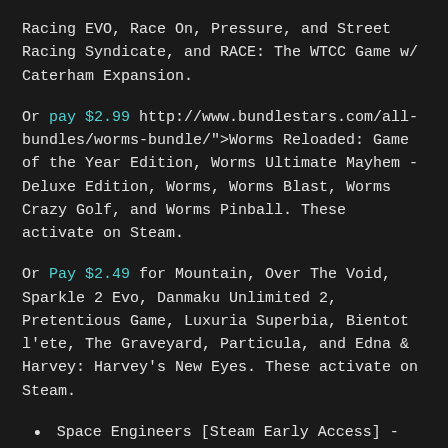Racing EVO, Race On, Pressure, and Street Racing Syndicate, and RACE: The WTCC Game w/ Caterham Expansion.
Or pay $2.99 http://www.bundlestars.com/all-bundles/worms-bundle/">Worms Reloaded: Game of the Year Edition, Worms Ultimate Mayhem - Deluxe Edition, Worms, Worms Blast, Worms Crazy Golf, and Worms Pinball. These activate on Steam.
Or Pay $2.49 for Mountain, Over The Void, Sparkle 2 Evo, Danmaku Unlimited 2, Pretentious Game, Luxuria Superbia, Bientot l'ete, The Graveyard, Particula, and Edna & Harvey: Harvey's New Eyes. These activate on Steam.
Space Engineers [Steam Early Access] - $17.49